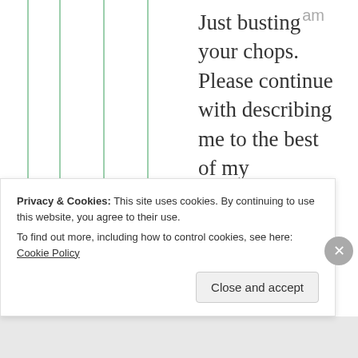am
Just busting your chops. Please continue with describing me to the best of my knowledge
Privacy & Cookies: This site uses cookies. By continuing to use this website, you agree to their use. To find out more, including how to control cookies, see here: Cookie Policy
Close and accept